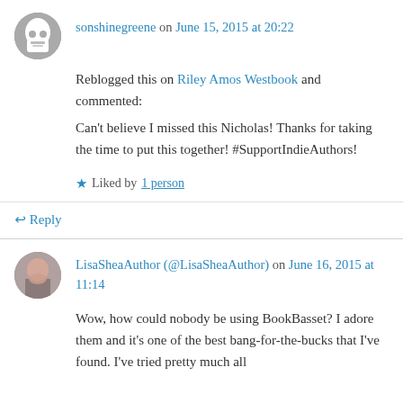sonshinegreene on June 15, 2015 at 20:22
Reblogged this on Riley Amos Westbook and commented:
Can't believe I missed this Nicholas! Thanks for taking the time to put this together! #SupportIndieAuthors!
Liked by 1 person
↪ Reply
LisaSheaAuthor (@LisaSheaAuthor) on June 16, 2015 at 11:14
Wow, how could nobody be using BookBasset? I adore them and it's one of the best bang-for-the-bucks that I've found. I've tried pretty much all